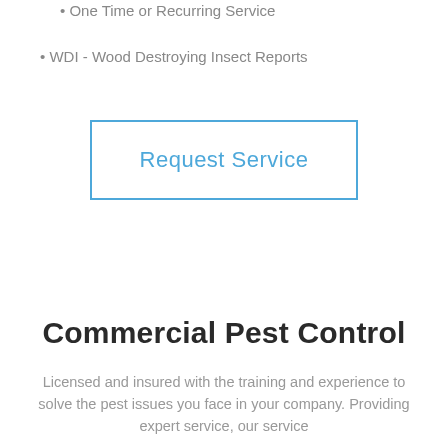• One Time or Recurring Service
• WDI - Wood Destroying Insect Reports
Request Service
Commercial Pest Control
Licensed and insured with the training and experience to solve the pest issues you face in your company. Providing expert service, our service